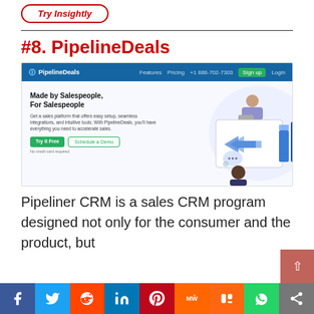[Figure (illustration): Red outlined rounded rectangle button with italic red text 'Try Insightly']
#8. PipelineDeals
[Figure (screenshot): Screenshot of PipelineDeals website showing navy blue navigation bar with logo, 'Features', 'Pricing', '+1 888-702-7303', green 'Sign up' button, 'Login'. Body shows heading 'Made by Salespeople, For Salespeople', subtext about sales platform, 'Try It Free' green button, 'Schedule a Demo' outline button, 'No credit card required' text. Right side shows illustrated figures with charts and arrows.]
Pipeliner CRM is a sales CRM program designed not only for the consumer and the product, but
[Figure (other): Social sharing bar with icons: Facebook (blue), Twitter (light blue), Reddit (orange-red), LinkedIn (dark blue), Pinterest (red), MW (orange), Mix (orange), WhatsApp (green), Share (grey)]